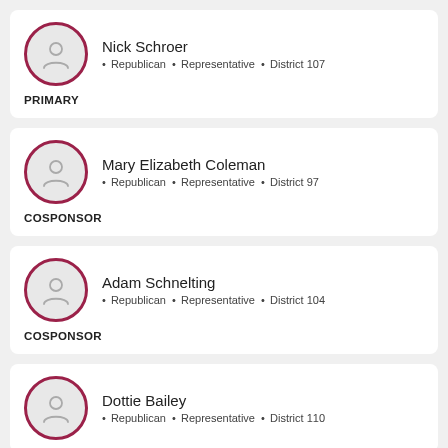Nick Schroer · Republican · Representative · District 107 PRIMARY
Mary Elizabeth Coleman · Republican · Representative · District 97 COSPONSOR
Adam Schnelting · Republican · Representative · District 104 COSPONSOR
Dottie Bailey · Republican · Representative · District 110